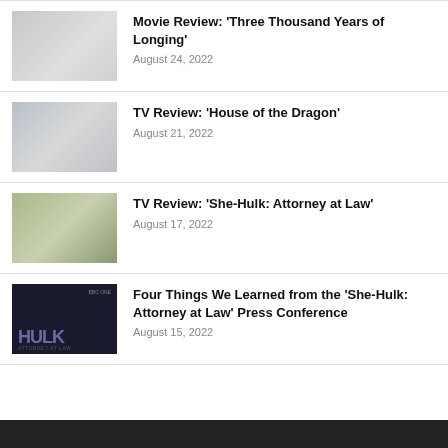Movie Review: ‘Three Thousand Years of Longing’ — August 24, 2022
TV Review: ‘House of the Dragon’ — August 21, 2022
TV Review: ‘She-Hulk: Attorney at Law’ — August 17, 2022
Four Things We Learned from the ‘She-Hulk: Attorney at Law’ Press Conference — August 15, 2022